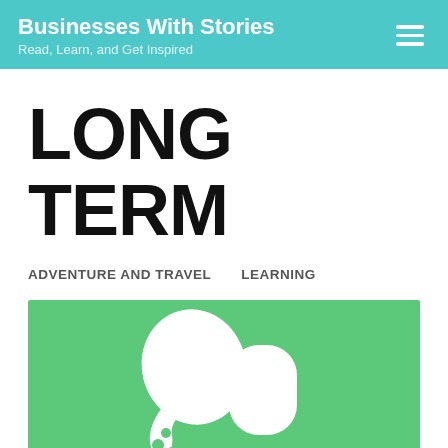Businesses With Stories
Read, Learn, and Get Inspired
LONG TERM
ADVENTURE AND TRAVEL    LEARNING
[Figure (logo): Green background with a white abstract Evernote-style elephant logo in the center]